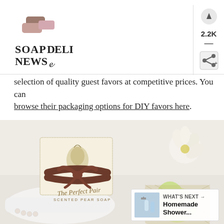[Figure (logo): Soap Deli News logo with soap icon and stylized text]
2.2K
selection of quality guest favors at competitive prices. You can browse their packaging options for DIY favors here.
[Figure (photo): Photo of 'The Perfect Pair Scented Pear Soap' gift box with brown ribbon bow, pear-shaped soap, white flower, and decorative basket]
WHAT'S NEXT → Homemade Shower...